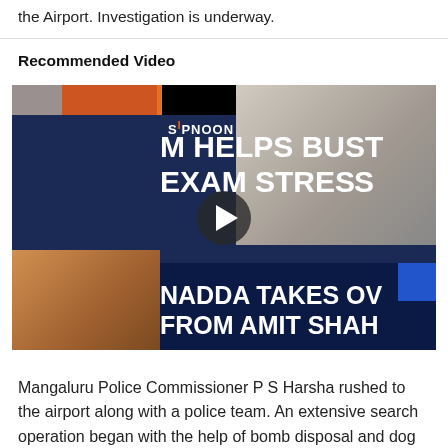the Airport. Investigation is underway.
Recommended Video
[Figure (screenshot): News channel video thumbnail showing headlines 'M HELPS BUST EXAM STRESS' and 'NADDA TAKES OVER FROM AMIT SHAH' with a play button overlay. Features a news banner with 'SIPNOON' branding, photos of Modi and Nadda.]
Mangaluru Police Commissioner P S Harsha rushed to the airport along with a police team. An extensive search operation began with the help of bomb disposal and dog squads and metal detectors.